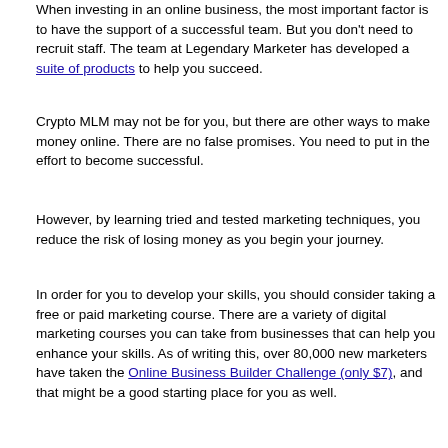When investing in an online business, the most important factor is to have the support of a successful team. But you don't need to recruit staff. The team at Legendary Marketer has developed a suite of products to help you succeed.
Crypto MLM may not be for you, but there are other ways to make money online. There are no false promises. You need to put in the effort to become successful.
However, by learning tried and tested marketing techniques, you reduce the risk of losing money as you begin your journey.
In order for you to develop your skills, you should consider taking a free or paid marketing course. There are a variety of digital marketing courses you can take from businesses that can help you enhance your skills. As of writing this, over 80,000 new marketers have taken the Online Business Builder Challenge (only $7), and that might be a good starting place for you as well.